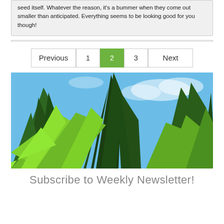seed itself. Whatever the reason, it's a bummer when they come out smaller than anticipated. Everything seems to be looking good for you though!
Previous 1 2 3 Next
[Figure (photo): Close-up photo of large cannabis/marijuana leaves with bright green and yellow-green coloring against a blue sky with white clouds.]
Subscribe to Weekly Newsletter!